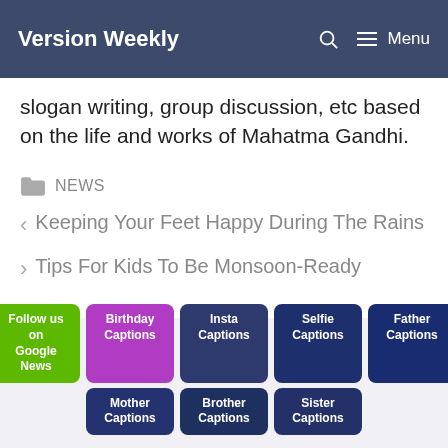Version Weekly   Menu
slogan writing, group discussion, etc based on the life and works of Mahatma Gandhi.
NEWS
< Keeping Your Feet Happy During The Rains
> Tips For Kids To Be Monsoon-Ready
Follow us on Google News | Birthday Captions | Insta Captions | Selfie Captions | Father Captions | Mother Captions | Brother Captions | Sister Captions